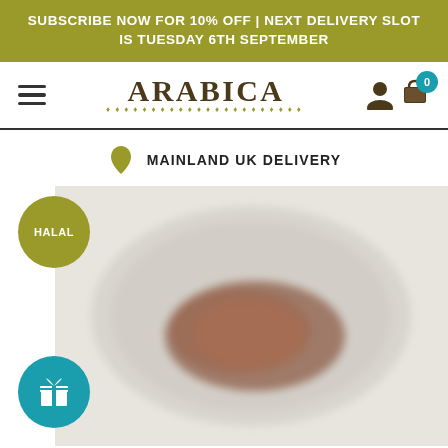SUBSCRIBE NOW FOR 10% OFF | NEXT DELIVERY SLOT IS TUESDAY 6TH SEPTEMBER
ARABICA
MAINLAND UK DELIVERY
[Figure (photo): Blurred close-up photo of a food item (meat/dish) on a plate, with a HALAL badge circle overlay top-left and a gift icon badge circle overlay bottom-left]